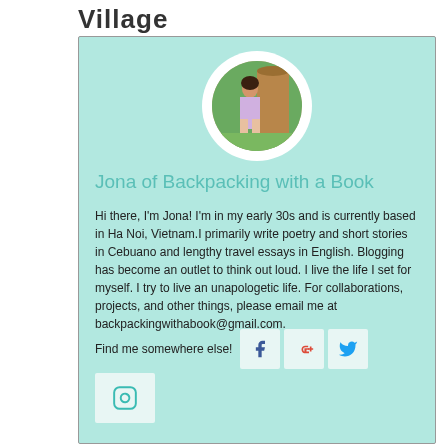Village
[Figure (photo): Circular profile photo of a person standing near a thatched structure outdoors]
Jona of Backpacking with a Book
Hi there, I'm Jona! I'm in my early 30s and is currently based in Ha Noi, Vietnam.I primarily write poetry and short stories in Cebuano and lengthy travel essays in English. Blogging has become an outlet to think out loud. I live the life I set for myself. I try to live an unapologetic life. For collaborations, projects, and other things, please email me at backpackingwithabook@gmail.com.
Find me somewhere else!